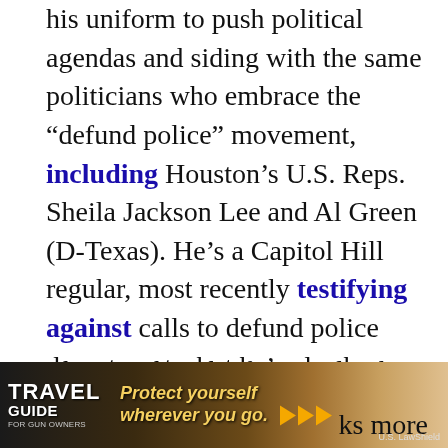his uniform to push political agendas and siding with the same politicians who embrace the “defund police” movement, including Houston’s U.S. Reps. Sheila Jackson Lee and Al Green (D-Texas). He’s a Capitol Hill regular, most recently testifying against calls to defund police departments, but he’s also been there as a vocal gun control supporter. “And I believe that we can do better in terms of limiting access to firearms to law-abiding Americans of sound mind,” he told Texas Monthly last year.
That’s right, Chief Acevedo, the top cop in one
[Figure (other): Advertisement banner for Travel Guide for Gun Owners featuring text 'Protect yourself wherever you go.' with orange play arrows and US LawShield branding, overlaid on a dark to light gradient background]
ks more